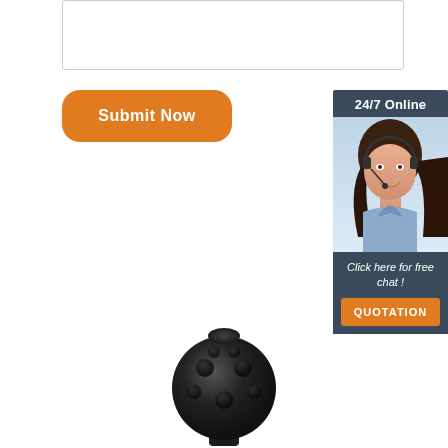[Figure (screenshot): Text area input box with rounded border]
[Figure (illustration): Orange rounded Submit Now button]
[Figure (infographic): 24/7 Online chat widget with customer service representative photo, italic text 'Click here for free chat!', and orange QUOTATION button]
[Figure (photo): Black rubber tow hitch ball cover with dimpled texture, photographed against white background]